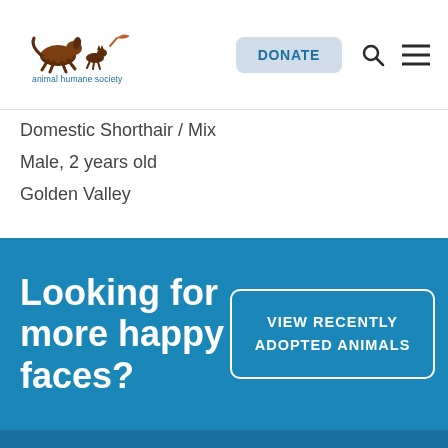Animal Humane Society — DONATE
Domestic Shorthair / Mix
Male, 2 years old
Golden Valley
Looking for more happy faces?
VIEW RECENTLY ADOPTED ANIMALS